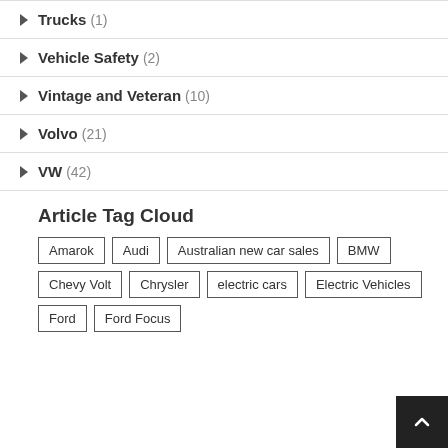Trucks (1)
Vehicle Safety (2)
Vintage and Veteran (10)
Volvo (21)
VW (42)
Article Tag Cloud
Amarok, Audi, Australian new car sales, BMW, Chevy Volt, Chrysler, electric cars, Electric Vehicles, Ford, Ford Focus